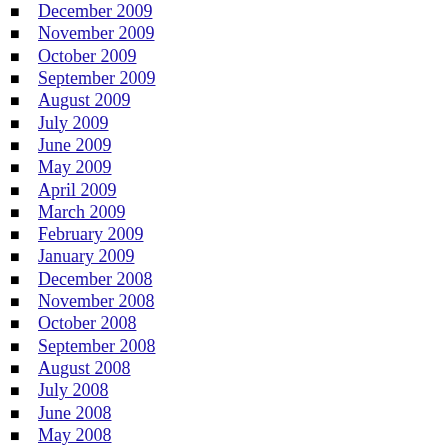December 2009
November 2009
October 2009
September 2009
August 2009
July 2009
June 2009
May 2009
April 2009
March 2009
February 2009
January 2009
December 2008
November 2008
October 2008
September 2008
August 2008
July 2008
June 2008
May 2008
April 2008
March 2008
February 2008
January 2008
December 2007